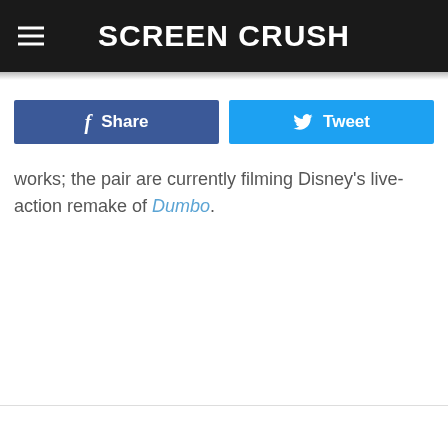Screen Crush
[Figure (other): Facebook Share button and Twitter Tweet button side by side]
works; the pair are currently filming Disney’s live-action remake of Dumbo.